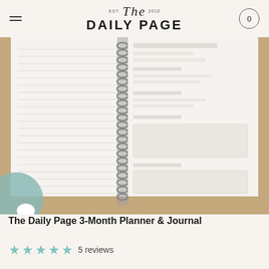EST. The DAILY PAGE 2010
[Figure (photo): Open spiral-bound planner/journal showing lined pages on the left and structured planning sections on the right, photographed from above on a tan/kraft paper background.]
The Daily Page 3-Month Planner & Journal
5 reviews